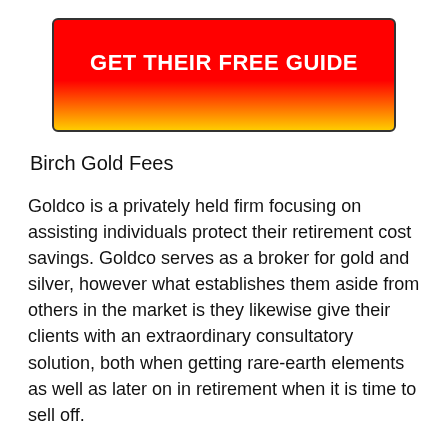[Figure (other): Red to yellow gradient button with white bold text reading GET THEIR FREE GUIDE]
Birch Gold Fees
Goldco is a privately held firm focusing on assisting individuals protect their retirement cost savings. Goldco serves as a broker for gold and silver, however what establishes them aside from others in the market is they likewise give their clients with an extraordinary consultatory solution, both when getting rare-earth elements as well as later on in retirement when it is time to sell off.